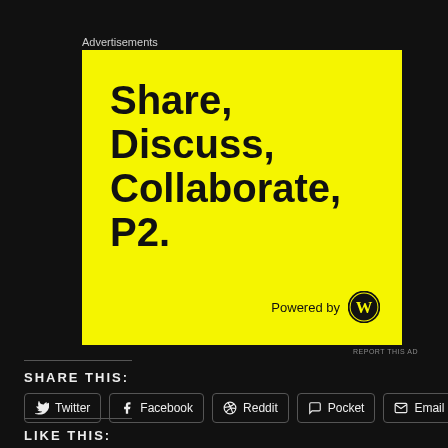Advertisements
[Figure (illustration): Yellow advertisement banner with bold black text reading 'Share, Discuss, Collaborate, P2.' and 'Powered by WordPress' logo at bottom right]
REPORT THIS AD
SHARE THIS:
Twitter  Facebook  Reddit  Pocket  Email
LIKE THIS: